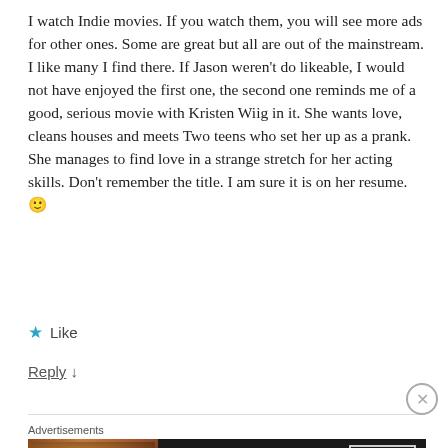I watch Indie movies. If you watch them, you will see more ads for other ones. Some are great but all are out of the mainstream. I like many I find there. If Jason weren't do likeable, I would not have enjoyed the first one, the second one reminds me of a good, serious movie with Kristen Wiig in it. She wants love, cleans houses and meets Two teens who set her up as a prank. She manages to find love in a strange stretch for her acting skills. Don't remember the title. I am sure it is on her resume. 🙂
★ Like
Reply ↓
[Figure (screenshot): Seamless food delivery advertisement banner with pizza image on left, Seamless logo in red button center, and ORDER NOW button on right, against dark background. Advertisements label above.]